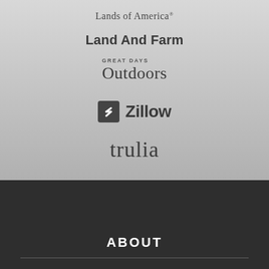[Figure (logo): Lands of America wordmark logo with registered trademark symbol]
[Figure (logo): Land And Farm bold wordmark logo]
[Figure (logo): Great Days Outdoors logo with small caps GREAT DAYS above large serif Outdoors]
[Figure (logo): Zillow logo with dark square icon containing stylized Z and bold Zillow wordmark]
[Figure (logo): trulia wordmark in serif lowercase letters]
ABOUT